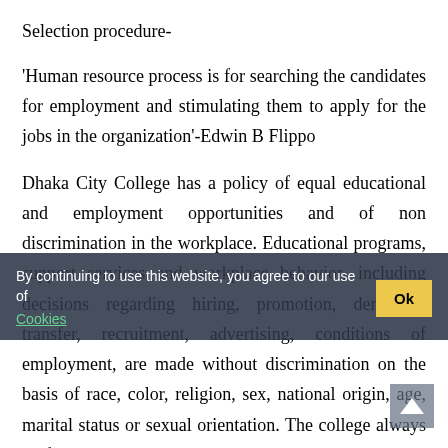Selection procedure-
'Human resource process is for searching the candidates for employment and stimulating them to apply for the jobs in the organization'-Edwin B Flippo
Dhaka City College has a policy of equal educational and employment opportunities and of non discrimination in the workplace. Educational programs, support services and workplace behavior, including decisions regarding hiring, promotion, demotion, transfer, recruitment, advertising, conditions of employment, are made without discrimination on the basis of race, color, religion, sex, national origin, age, marital status or sexual orientation. The college always prefers a long term